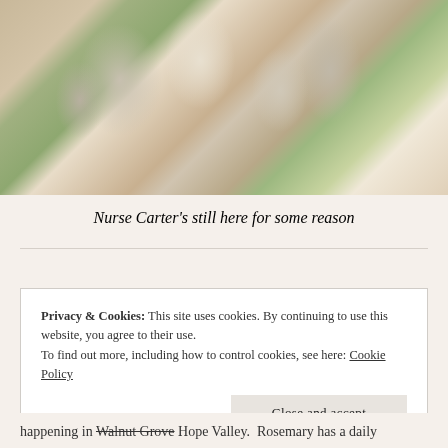[Figure (photo): Group photo of children and a young woman (Nurse Carter) sitting together outdoors, wearing period clothing (white shirts, skirts). The woman has blonde curly hair and is seated among several children.]
Nurse Carter's still here for some reason
Privacy & Cookies: This site uses cookies. By continuing to use this website, you agree to their use. To find out more, including how to control cookies, see here: Cookie Policy
happening in Walnut Grove Hope Valley. Rosemary has a daily